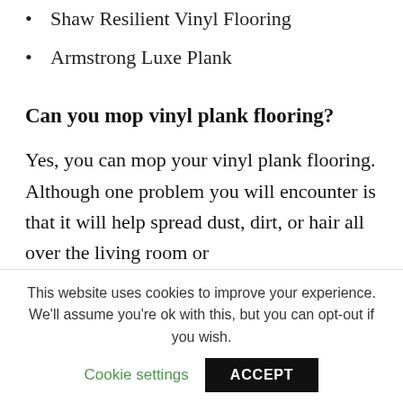Shaw Resilient Vinyl Flooring
Armstrong Luxe Plank
Can you mop vinyl plank flooring?
Yes, you can mop your vinyl plank flooring. Although one problem you will encounter is that it will help spread dust, dirt, or hair all over the living room or
This website uses cookies to improve your experience. We'll assume you're ok with this, but you can opt-out if you wish.
Cookie settings
ACCEPT